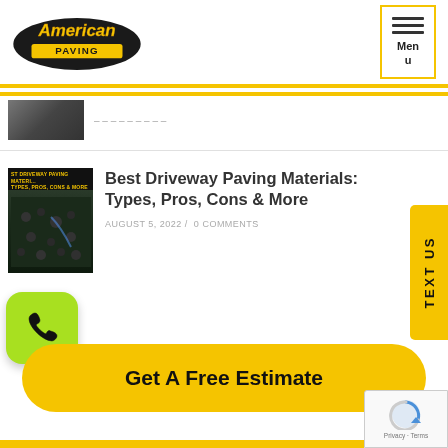[Figure (logo): American Paving company logo with stylized text on dark oval background]
[Figure (screenshot): Menu button with horizontal lines and text 'Menu' inside yellow border]
[Figure (photo): Partially cropped thumbnail image of a previous article]
[Figure (photo): Article thumbnail showing driveway paving materials with overlay text 'Best Driveway Paving Materials Types, Pros, Cons & More']
Best Driveway Paving Materials: Types, Pros, Cons & More
AUGUST 5, 2022 / 0 COMMENTS
[Figure (other): Green rounded square button with phone/call icon]
TEXT US
Get A Free Estimate